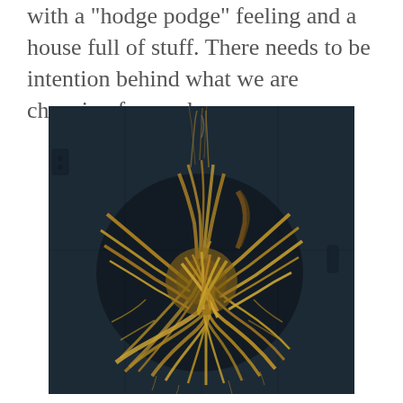with a 'hodge podge' feeling and a house full of stuff. There needs to be intention behind what we are choosing for our homes.
[Figure (photo): A dried corn husk wreath hanging on a dark navy/black barn door. The wreath is made of twisted, dried golden-brown corn husks and straw, creating a large rustic circular arrangement.]